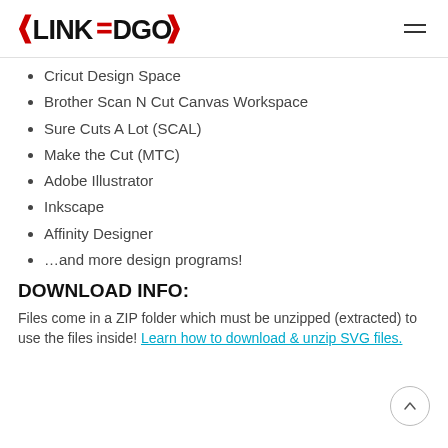LINKEDGO
Cricut Design Space
Brother Scan N Cut Canvas Workspace
Sure Cuts A Lot (SCAL)
Make the Cut (MTC)
Adobe Illustrator
Inkscape
Affinity Designer
…and more design programs!
DOWNLOAD INFO:
Files come in a ZIP folder which must be unzipped (extracted) to use the files inside! Learn how to download & unzip SVG files.